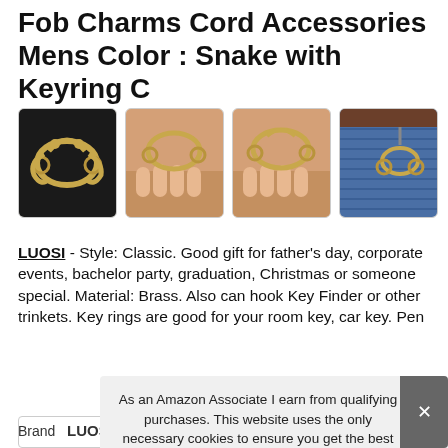Fob Charms Cord Accessories Mens Color : Snake with Keyring C
[Figure (photo): Four product images of a brass snake-shaped key fob charm with key rings, shown on dark background, in hand, and attached to jeans belt loop]
LUOSI - Style: Classic. Good gift for father's day, corporate events, bachelor party, graduation, Christmas or someone special. Material: Brass. Also can hook Key Finder or other trinkets. Key rings are good for your room key, car key. Pen
As an Amazon Associate I earn from qualifying purchases. This website uses the only necessary cookies to ensure you get the best experience on our website. More information
| Brand |
| --- |
| LUOSI |